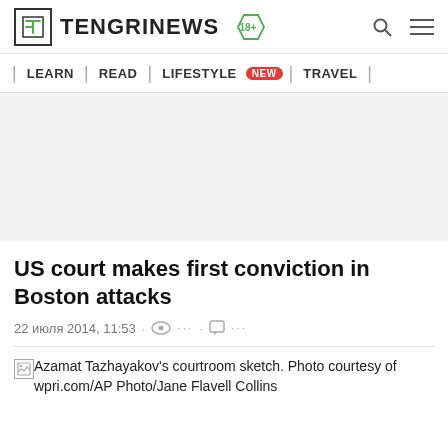TENGRINEWS 18+
| LEARN | READ | LIFESTYLE NEW | TRAVEL |
US court makes first conviction in Boston attacks
22 июля 2014, 11:53 · ··· ···
Azamat Tazhayakov's courtroom sketch. Photo courtesy of wpri.com/AP Photo/Jane Flavell Collins